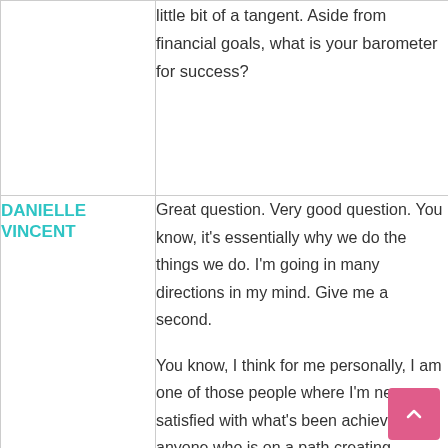little bit of a tangent. Aside from financial goals, what is your barometer for success?
DANIELLE VINCENT
Great question. Very good question. You know, it's essentially why we do the things we do. I'm going in many directions in my mind. Give me a second.

You know, I think for me personally, I am one of those people where I'm never satisfied with what's been achieved. For anyone who is on a path creating something, trying to do something that brings positivity, whether it's in a product, or a service, to other people, I think any step in that direction is a success